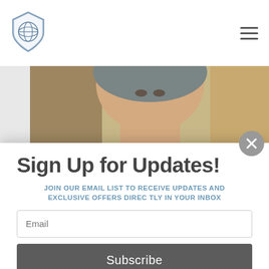[Figure (logo): Shield logo with globe icon in blue/grey tones]
[Figure (photo): Young woman wearing a grey knit beanie hat, cropped photo showing face and upper body]
Sign Up for Updates!
JOIN OUR EMAIL LIST TO RECEIVE UPDATES AND EXCLUSIVE OFFERS DIRECTLY IN YOUR INBOX
Email
Subscribe
*By completing this form you are signing up to receive our emails and can unsubscribe at any time.